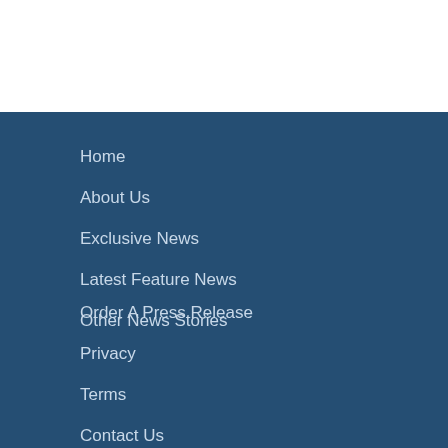Home
About Us
Exclusive News
Latest Feature News
Other News Stories
Order A Press Release
Privacy
Terms
Contact Us